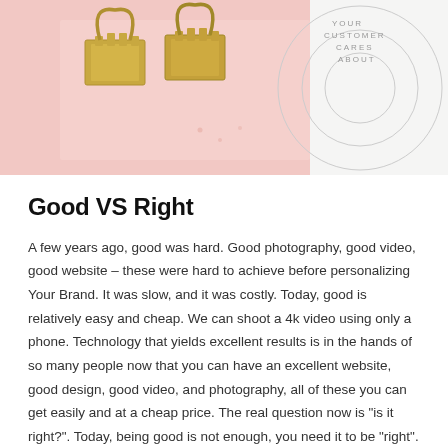[Figure (photo): Photo of gold binder clips on a pink surface on the left side, and a circular diagram with text 'YOUR CUSTOMER CARES ABOUT' on the right side, on a white/light grey background.]
Good VS Right
A few years ago, good was hard. Good photography, good video, good website – these were hard to achieve before personalizing Your Brand. It was slow, and it was costly. Today, good is relatively easy and cheap. We can shoot a 4k video using only a phone. Technology that yields excellent results is in the hands of so many people now that you can have an excellent website, good design, good video, and photography, all of these you can get easily and at a cheap price. The real question now is "is it right?". Today, being good is not enough, you need it to be "right".